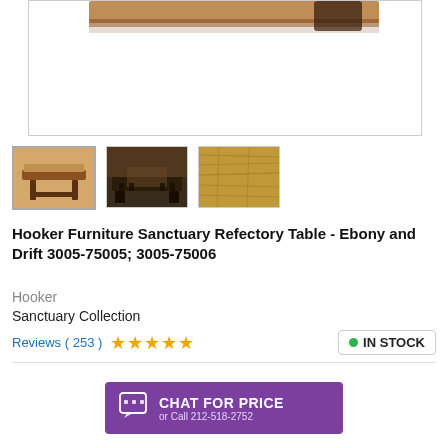[Figure (photo): Main product photo of Hooker Furniture Sanctuary Refectory Table - partial view showing top of table against white background]
[Figure (photo): Thumbnail 1: Side view of the refectory table showing trestle base in dark finish]
[Figure (photo): Thumbnail 2: Room setting showing the table with chairs in a traditional dining room]
[Figure (photo): Thumbnail 3: Close-up of the table wood grain surface]
Hooker Furniture Sanctuary Refectory Table - Ebony and Drift 3005-75005; 3005-75006
Hooker
Sanctuary Collection
Reviews ( 253 ) ★★★★★
● IN STOCK
CHAT FOR PRICE or Call 212-518-2752